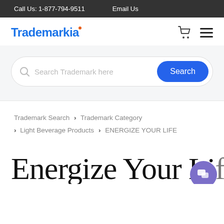Call Us: 1-877-794-9511   Email Us
[Figure (logo): Trademarkia logo with blue text and orange dot]
[Figure (other): Search bar with placeholder 'Search Trademark here' and blue Search button]
Trademark Search › Trademark Category › Light Beverage Products › ENERGIZE YOUR LIFE
Energize Your Li(fe)